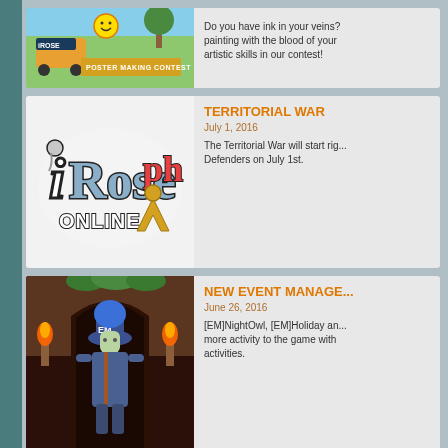[Figure (screenshot): Partial card at top showing a game screenshot with 'Poster Making Contest' text and iRose Online branding]
Do you have ink in your veins? painting with the blood of your artistic skills in our contest!
[Figure (logo): iROSE Online PH logo with stylized text]
TERRITORIAL WAR
July 1, 2016
The Territorial War will start rig... Defenders on July 1st.
[Figure (screenshot): Game character with blue hair wearing a hat labeled EM, standing in a dungeon-like environment with fire torches]
NEW EVENT MANAGE...
June 26, 2016
[EM]NightOwl, [EM]Holiday an... more activity to the game with activities.
[Figure (screenshot): Partial card at bottom showing colorful game scene]
WEEKLONG MANIA!